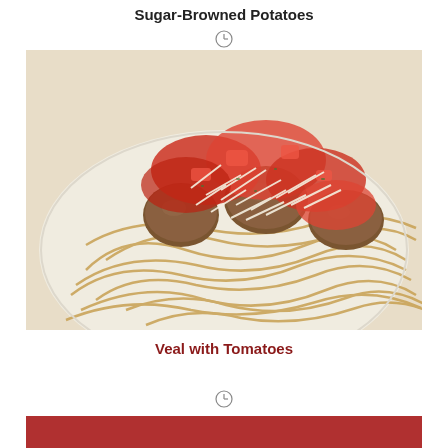Sugar-Browned Potatoes
[Figure (illustration): Clock/timer icon]
[Figure (photo): Plate of spaghetti with meatballs, tomato sauce, and grated parmesan cheese]
Veal with Tomatoes
[Figure (illustration): Clock/timer icon]
[Figure (photo): Partial bottom image with red background]